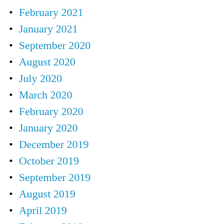February 2021
January 2021
September 2020
August 2020
July 2020
March 2020
February 2020
January 2020
December 2019
October 2019
September 2019
August 2019
April 2019
February 2019
September 2018
August 2018